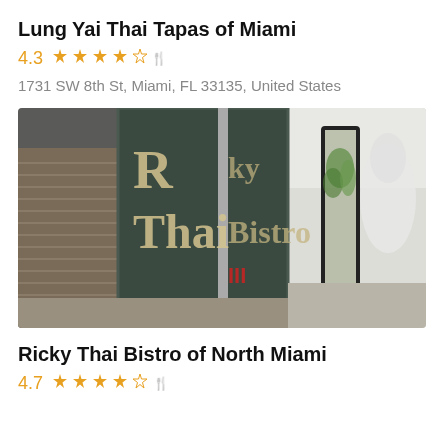Lung Yai Thai Tapas of Miami
4.3  ☆☆☆☆☆
1731 SW 8th St, Miami, FL 33135, United States
[Figure (photo): Exterior photo of Ricky Thai Bistro storefront showing large windows with 'Ricky Thai Bistro' text, horizontal blinds, and a vertical mirror/display outside on the sidewalk.]
Ricky Thai Bistro of North Miami
4.7  ☆☆☆☆☆